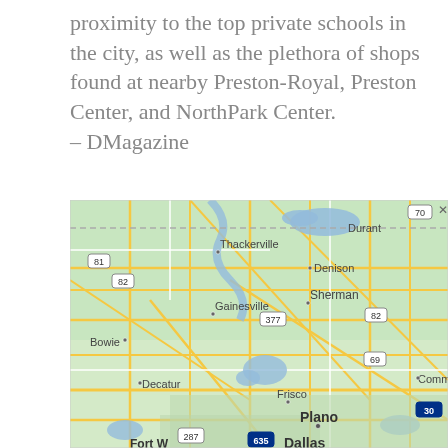proximity to the top private schools in the city, as well as the plethora of shops found at nearby Preston-Royal, Preston Center, and NorthPark Center.
– DMagazine
[Figure (map): Google Map showing the Dallas-Fort Worth area of Texas, including cities such as Durant, Denison, Sherman, Thackerville, Gainesville, Bowie, Decatur, Frisco, Plano, Dallas, and surrounding towns. Roads and highways including 81, 82, 377, 69, 70, 287, 635, and 30 are visible. Lakes and green terrain are shown.]